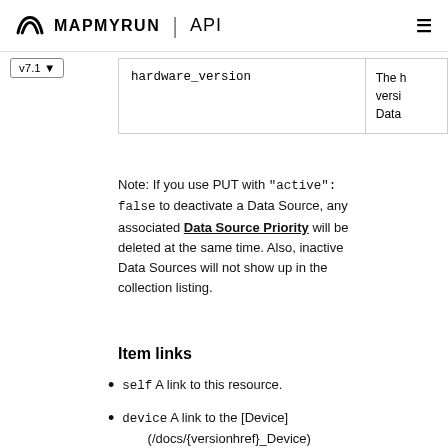MAPMYRUN | API
| Field | Description |
| --- | --- |
| hardware_version | The h veri Data |
Note: If you use PUT with "active": false to deactivate a Data Source, any associated Data Source Priority will be deleted at the same time. Also, inactive Data Sources will not show up in the collection listing.
Item links
self A link to this resource.
device A link to the [Device] (/docs/{versionhref}_Device)